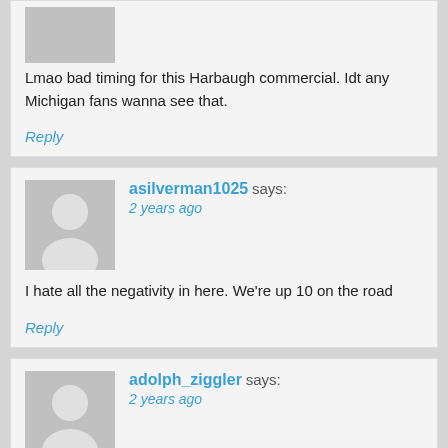Lmao bad timing for this Harbaugh commercial. Idt any Michigan fans wanna see that.
Reply
asilverman1025 says: 2 years ago
I hate all the negativity in here. We're up 10 on the road
Reply
adolph_ziggler says: 2 years ago
Yes, nevermind updates on Slay, let's talk about the fucking guys holding the fucking canopies on the fucking sideline.